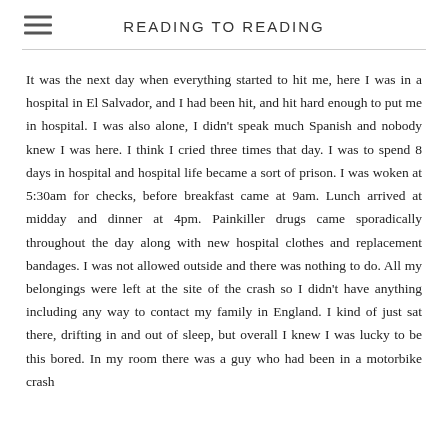READING TO READING
It was the next day when everything started to hit me, here I was in a hospital in El Salvador, and I had been hit, and hit hard enough to put me in hospital. I was also alone, I didn't speak much Spanish and nobody knew I was here. I think I cried three times that day. I was to spend 8 days in hospital and hospital life became a sort of prison. I was woken at 5:30am for checks, before breakfast came at 9am. Lunch arrived at midday and dinner at 4pm. Painkiller drugs came sporadically throughout the day along with new hospital clothes and replacement bandages. I was not allowed outside and there was nothing to do. All my belongings were left at the site of the crash so I didn't have anything including any way to contact my family in England. I kind of just sat there, drifting in and out of sleep, but overall I knew I was lucky to be this bored. In my room there was a guy who had been in a motorbike crash